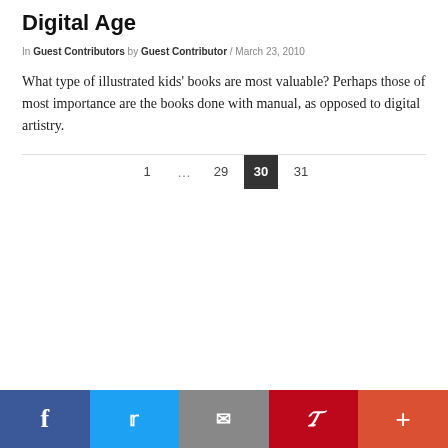Digital Age
In Guest Contributors by Guest Contributor / March 23, 2010
What type of illustrated kids’ books are most valuable? Perhaps those of most importance are the books done with manual, as opposed to digital artistry.
1 ... 29 30 31
[Figure (other): Social media sharing bar with Facebook, Twitter, Email, Pinterest, and More buttons]